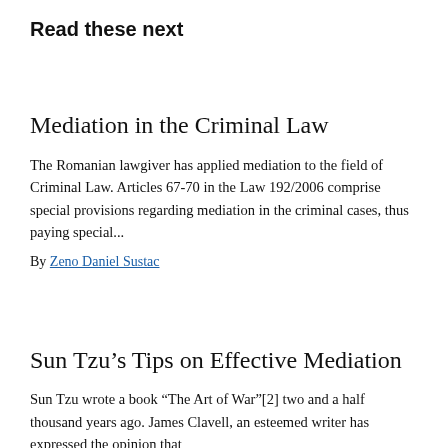Read these next
Mediation in the Criminal Law
The Romanian lawgiver has applied mediation to the field of Criminal Law. Articles 67-70 in the Law 192/2006 comprise special provisions regarding mediation in the criminal cases, thus paying special...
By Zeno Daniel Sustac
Sun Tzu’s Tips on Effective Mediation
Sun Tzu wrote a book "The Art of War"[2] two and a half thousand years ago. James Clavell, an esteemed writer has expressed the opinion that